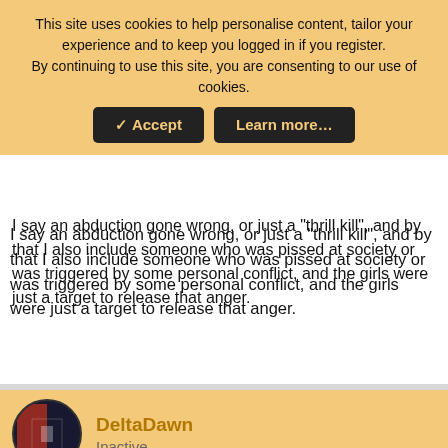This site uses cookies to help personalise content, tailor your experience and to keep you logged in if you register. By continuing to use this site, you are consenting to our use of cookies.
Accept  Learn more...
I say an abduction gone wrong, or just a "thrill kill", and by that I also include someone who was pissed at society or was triggered by some personal conflict, and the girls were just a target to release that anger.
DeltaDawn
Inactive
Jun 24, 2008  #35
I voted for the silencing of possible witness. I think the girls happened upon a drug deal or cooking and that was that. They